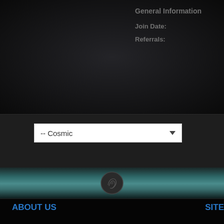General Information
Join Date:
Referrals:
[Figure (screenshot): Dropdown selector showing '-- Cosmic' with a down arrow]
[Figure (illustration): Aqua/teal gradient band with fingerprint or circle emblem]
ABOUT US
PSO-World is the world's largest Phantasy Star community website offering discussion forums, guides, and news for online Phantasy Star games.
SITE
New
Foru
Galle
[Figure (logo): PSO-World logo with blue orb and text 'The World's Largest Phantasy Star Community']